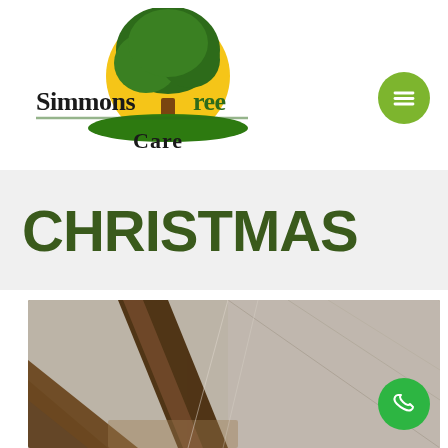[Figure (logo): Simmons Tree Care logo with green tree on yellow sun and green hill, text reads 'Simmons Tree Care']
[Figure (other): Green circular hamburger menu button with three horizontal lines]
CHRISTMAS
[Figure (photo): Close-up photo of tree branches or wood being cut, showing brown bark and sawdust/debris on a glass or wet surface]
[Figure (other): Green circular phone/call button with phone icon]